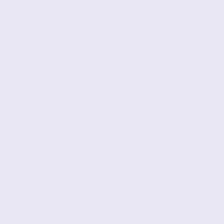From: FREELOTTO <ninakemp1@gma...
Date: Wednesday, June 22, 2011, 8:43:...
Subject: PRIZE
PRIZE!!

FREELOTTO
BELGIUM.

Dear Winner,

We proudly bring to your notice, the resu... the FREELOTTO PROMOTIONS.

You have been selected as the second ca... online draws done via computer ballot sy... tickets purchased. Your email address wa... world wide web and was attached to you... FLC/45543. You have been awarded a lu... 000, 000.00eur (One million euros only), ... payout for 2nd category winner in the onl...

In your best interest, we request that you... your award strictly from public notice unti... transferring your claims has been comple... transferred to you. This is to protect winn... misappropriation of funds.

In pursuant to your prize collection, kindly... below and send by fax or email to the the... for due processing and transfer of your p...